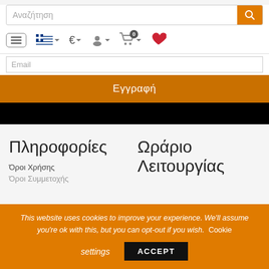[Figure (screenshot): Search bar with orange search button]
[Figure (screenshot): Navigation icons: hamburger menu, Greek flag dropdown, Euro currency dropdown, user account dropdown, shopping cart with 0 badge, red heart wishlist]
Email
Εγγραφή
Πληροφορίες
Ωράριο Λειτουργίας
Όροι Χρήσης
Όροι Συμμετοχής
This website uses cookies to improve your experience. We'll assume you're ok with this, but you can opt-out if you wish. Cookie settings ACCEPT